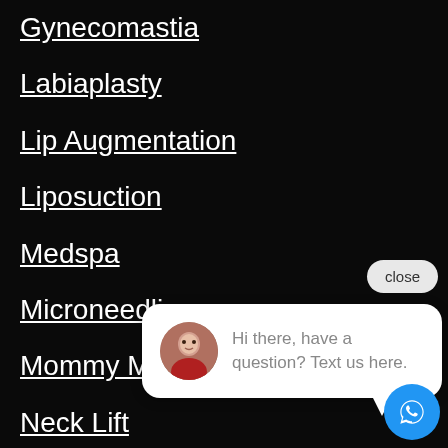Gynecomastia
Labiaplasty
Lip Augmentation
Liposuction
Medspa
Microneedling
Mommy Make[over]
Neck Lift
Rhinoplasty
Skin Cancer
[Figure (screenshot): Chat widget overlay with close button, avatar of a woman in red, and message: Hi there, have a question? Text us here. Blue chat button in bottom right.]